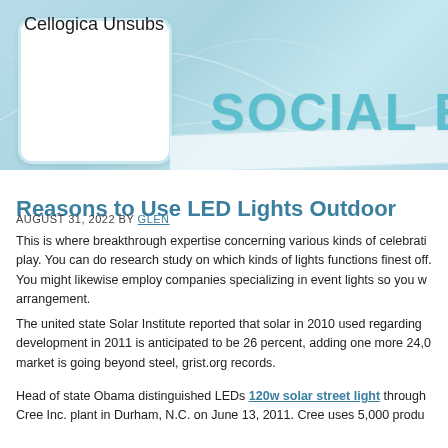Cellogica Unsubs / SOCIAL EY
Reasons to Use LED Lights Outdoor
AUGUST 31, 2022 BY GLEN
This is where breakthrough expertise concerning various kinds of celebration play. You can do research study on which kinds of lights functions finest off. You might likewise employ companies specializing in event lights so you w arrangement.
The united state Solar Institute reported that solar in 2010 used regarding development in 2011 is anticipated to be 26 percent, adding one more 24,0 market is going beyond steel, grist.org records.
Head of state Obama distinguished LEDs 120w solar street light through Cree Inc. plant in Durham, N.C. on June 13, 2011. Cree uses 5,000 produ